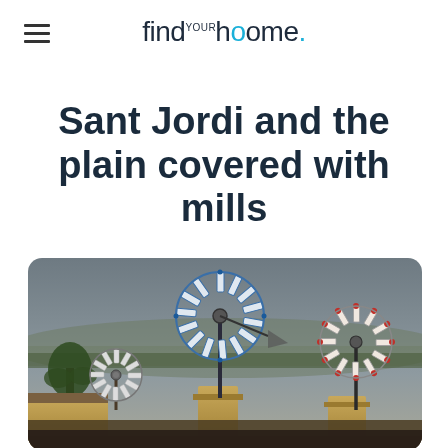findyourhoome.
Sant Jordi and the plain covered with mills
[Figure (photo): Photograph of traditional windmills in Sant Jordi, Mallorca, at dusk. Three windmill structures with decorative blades are visible against a hazy sky, with stone buildings and palm trees in the foreground.]